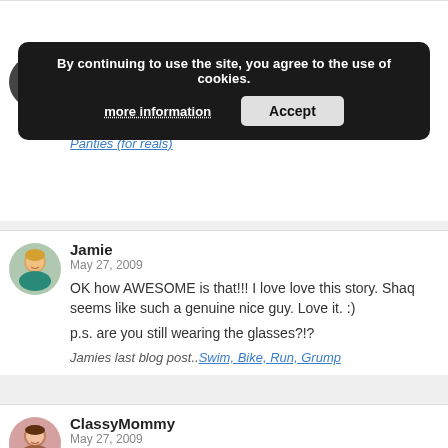lot of fun.
By continuing to use the site, you agree to the use of cookies. more information Accept
Katja
May 27, 2009
SO FREAKIN' COOOL!
Katjas last blog post..Honoring Soldiers with Wieners & Panties (for reals)
Jamie
May 27, 2009
OK how AWESOME is that!!! I love love this story. Shaq seems like such a genuine nice guy. Love it. :)
p.s. are you still wearing the glasses?!?
Jamies last blog post..Swim, Bike, Run, Grump
ClassyMommy
May 27, 2009
This totally rocks. And how cool he was such a genuine guy like yourself. Those were some hot sunglasses too and this was totally the coolest blog post ever. I loved it